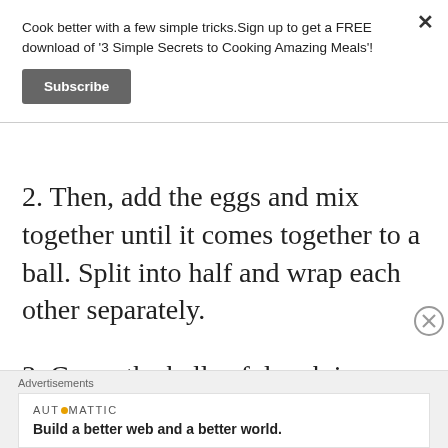Cook better with a few simple tricks.Sign up to get a FREE download of '3 Simple Secrets to Cooking Amazing Meals'!
Subscribe
2. Then, add the eggs and mix together until it comes together to a ball. Split into half and wrap each other separately.
3. Cover the balls of dough in plastic wrap and place in the fridge for a couple
Advertisements
AUTOMATTIC
Build a better web and a better world.